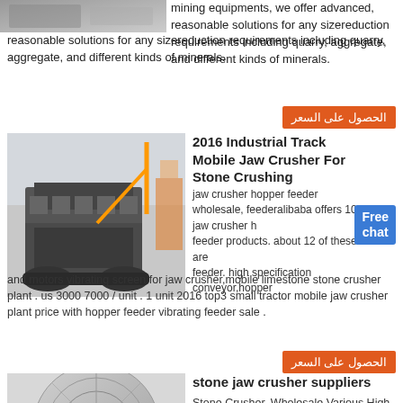[Figure (photo): Partial view of industrial machinery (top-left, cropped)]
mining equipments, we offer advanced, reasonable solutions for any sizereduction requirements including quarry, aggregate, and different kinds of minerals.
الحصول على السعر (orange button)
[Figure (photo): Industrial Track Mobile Jaw Crusher in a factory/warehouse setting]
2016 Industrial Track Mobile Jaw Crusher For Stone Crushing
jaw crusher hopper feeder wholesale, feederalibaba offers 100 jaw crusher hopper feeder products. about 12 of these are feeder. high specification conveyor,hopper and motors vibrating screen for jaw crusher,mobile limestone stone crusher plant . us 3000 7000 / unit . 1 unit 2016 top3 small tractor mobile jaw crusher plant price with hopper feeder vibrating feeder sale .
Free chat (blue badge)
الحصول على السعر (orange button)
[Figure (photo): Cylindrical industrial stone crusher component, circular cross-section view]
stone jaw crusher suppliers
Stone Crusher, Wholesale Various High Quality Stone Crusher Products from Global Stone Crusher Suppliers and Stone Crusher Factory,Importer,Exporter at ... Buy high quality Stone Jaw Crusher by Shanghai